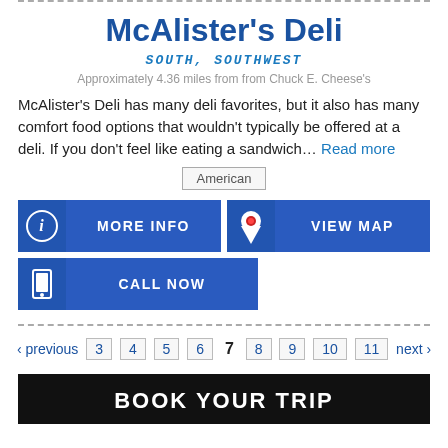McAlister's Deli
SOUTH, SOUTHWEST
Approximately 4.36 miles from from Chuck E. Cheese's
McAlister's Deli has many deli favorites, but it also has many comfort food options that wouldn't typically be offered at a deli. If you don't feel like eating a sandwich… Read more
American
MORE INFO
VIEW MAP
CALL NOW
‹ previous 3 4 5 6 7 8 9 10 11 next ›
BOOK YOUR TRIP